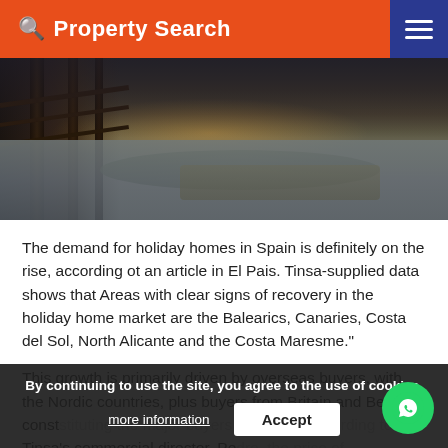Property Search
[Figure (photo): Coastal beach scene at dusk with a wooden boardwalk/deck structure on the left and a rocky shoreline with water in the background, warm sunset glow on the horizon.]
The demand for holiday homes in Spain is definitely on the rise, according ot an article in El Pais. Tinsa-supplied data shows that Areas with clear signs of recovery in the holiday home market are the Balearics, Canaries, Costa del Sol, North Alicante and the Costa Maresme."
This growth is primarily driven by overseas buyers, with the Nordic countries, plus buyers from Britain and Belgium constituting the major buyers of holiday Accoerding to Tinsa's commercial director, Pedro, the price of Spanish holiday homes is rising and keeping pace with demand and Málaga is among the regions with the highest
By continuing to use the site, you agree to the use of cookies.
more information
Accept